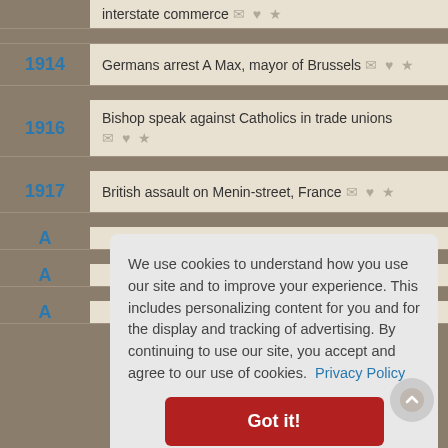interstate commerce
1914 — Germans arrest A Max, mayor of Brussels
1916 — Bishop speak against Catholics in trade unions
1917 — British assault on Menin-street, France
We use cookies to understand how you use our site and to improve your experience. This includes personalizing content for you and for the display and tracking of advertising. By continuing to use our site, you accept and agree to our use of cookies. Privacy Policy
Got it!